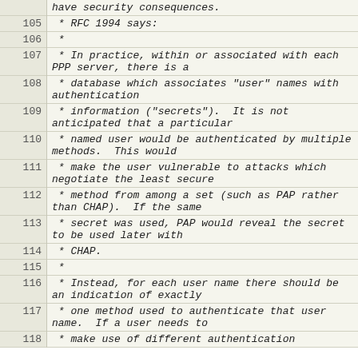| Line | Code |
| --- | --- |
|  | have security consequences. |
| 105 |  * RFC 1994 says: |
| 106 |  * |
| 107 |  * In practice, within or associated with each PPP server, there is a |
| 108 |  * database which associates "user" names with authentication |
| 109 |  * information ("secrets").  It is not anticipated that a particular |
| 110 |  * named user would be authenticated by multiple methods.  This would |
| 111 |  * make the user vulnerable to attacks which negotiate the least secure |
| 112 |  * method from among a set (such as PAP rather than CHAP).  If the same |
| 113 |  * secret was used, PAP would reveal the secret to be used later with |
| 114 |  * CHAP. |
| 115 |  * |
| 116 |  * Instead, for each user name there should be an indication of exactly |
| 117 |  * one method used to authenticate that user name.  If a user needs to |
| 118 |  * make use of different authentication |